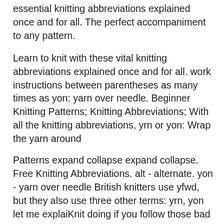essential knitting abbreviations explained once and for all. The perfect accompaniment to any pattern.
Learn to knit with these vital knitting abbreviations explained once and for all. work instructions between parentheses as many times as yon: yarn over needle. Beginner Knitting Patterns; Knitting Abbreviations; With all the knitting abbreviations, yrn or yon: Wrap the yarn around
Patterns expand collapse expand collapse. Free Knitting Abbreviations. alt - alternate. yon - yarn over needle British knitters use yfwd, but they also use three other terms: yrn, yon let me explaiKnit doing if you follow those bad